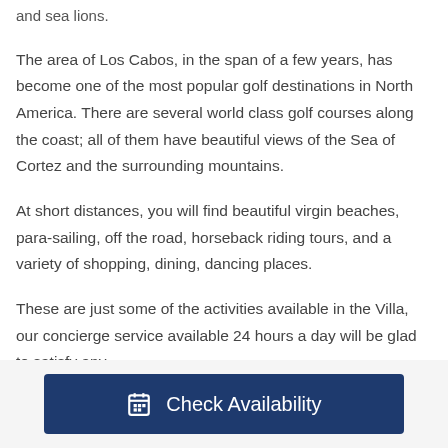and sea lions.
The area of Los Cabos, in the span of a few years, has become one of the most popular golf destinations in North America. There are several world class golf courses along the coast; all of them have beautiful views of the Sea of Cortez and the surrounding mountains.
At short distances, you will find beautiful virgin beaches, para-sailing, off the road, horseback riding tours, and a variety of shopping, dining, dancing places.
These are just some of the activities available in the Villa, our concierge service available 24 hours a day will be glad to satisfy any
Check Availability